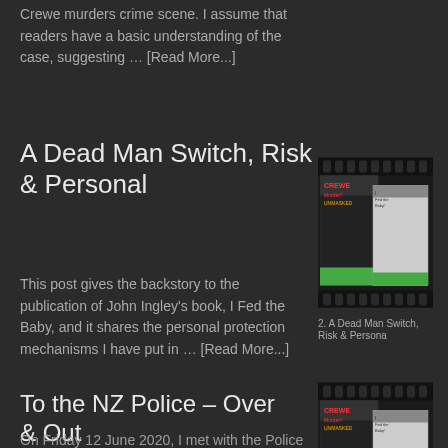Crewe murders crime scene. I assume that readers have a basic understanding of the case, suggesting … [Read More...]
A Dead Man Switch, Risk & Personal
[Figure (photo): Book cover image for 'Crewe Murder Unmasked' and 'I Fed the Baby' with caption: 2. A Dead Man Switch, Risk & Persona]
This post gives the backstory to the publication of John Ingley's book, I Fed the Baby, and it shares the personal protection mechanisms I have put in … [Read More...]
To the NZ Police – Over & Out
[Figure (photo): Book cover image for 'Crewe Murder Unmasked' and 'I Fed the Baby' with caption: 9. To the NZ Police – Over & Out]
On Friday 12 June 2020, I met with the Police officer in charge of the local Taumarunui Police Station, Paul Dowie, and this post contains a copy of … [Read More...]